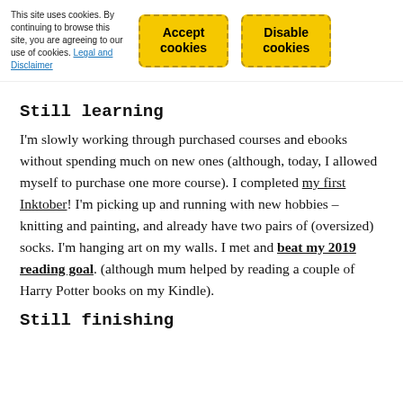This site uses cookies. By continuing to browse this site, you are agreeing to our use of cookies. Legal and Disclaimer
Accept cookies
Disable cookies
Still learning
I'm slowly working through purchased courses and ebooks without spending much on new ones (although, today, I allowed myself to purchase one more course). I completed my first Inktober! I'm picking up and running with new hobbies – knitting and painting, and already have two pairs of (oversized) socks. I'm hanging art on my walls. I met and beat my 2019 reading goal. (although mum helped by reading a couple of Harry Potter books on my Kindle).
Still finishing